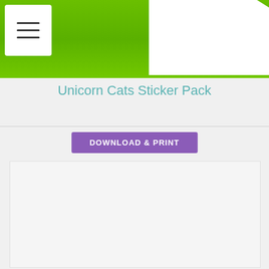[Figure (screenshot): Green header banner with white paper/card area on the right and hamburger menu icon in a white box on the top left]
Unicorn Cats Sticker Pack
[Figure (other): Purple 'DOWNLOAD & PRINT' button]
[Figure (other): Large light gray content/preview area below the button, mostly empty/blank]